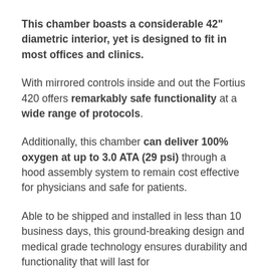This chamber boasts a considerable 42" diametric interior, yet is designed to fit in most offices and clinics.
With mirrored controls inside and out the Fortius 420 offers remarkably safe functionality at a wide range of protocols.
Additionally, this chamber can deliver 100% oxygen at up to 3.0 ATA (29 psi) through a hood assembly system to remain cost effective for physicians and safe for patients.
Able to be shipped and installed in less than 10 business days, this ground-breaking design and medical grade technology ensures durability and functionality that will last for